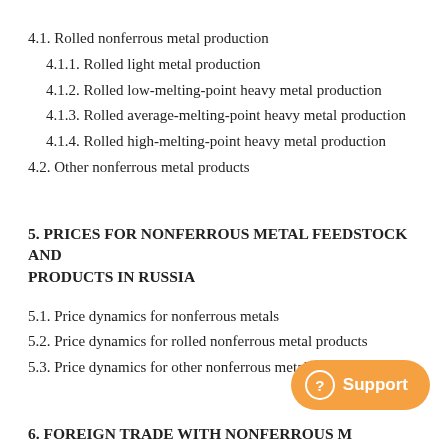4.1. Rolled nonferrous metal production
4.1.1. Rolled light metal production
4.1.2. Rolled low-melting-point heavy metal production
4.1.3. Rolled average-melting-point heavy metal production
4.1.4. Rolled high-melting-point heavy metal production
4.2. Other nonferrous metal products
5. PRICES FOR NONFERROUS METAL FEEDSTOCK AND PRODUCTS IN RUSSIA
5.1. Price dynamics for nonferrous metals
5.2. Price dynamics for rolled nonferrous metal products
5.3. Price dynamics for other nonferrous metal products
6. FOREIGN TRADE WITH NONFERROUS METAL PRODUCTS IN RUSSIA